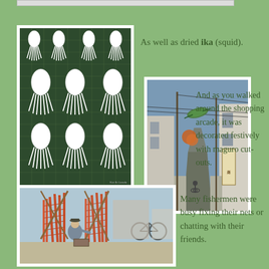[Figure (photo): Dried squid (ika) hanging on a wire mesh rack in rows]
As well as dried ika (squid).
[Figure (photo): A shopping arcade street in Japan decorated with maguro (tuna) cut-outs hanging overhead, utility poles and wires visible]
And as you walked around the shopping arcade, it was decorated festively with maguro cut-outs.
[Figure (photo): Fishermen sitting outdoors fixing large orange nets, with bicycles in the background]
Many fishermen were busy fixing their nets or chatting with their friends.